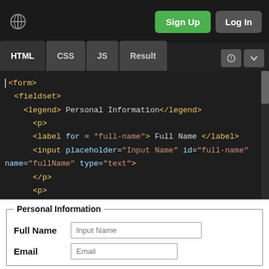[Figure (screenshot): CodePen-like interface showing HTML/CSS/JS/Result tabs with HTML code editor displaying a form with fieldset for Personal Information]
<form>
  <fieldset>
    <legend> Personal Information</legend>
      <p>
      <label for = "full-name"> Full Name </label>
      <input placeholder="Input Name" id="full-name"
name="fullName" type="text">
      </p>
      <p>
Personal Information
Full Name  Input Name
Email  Email
No Telp  Telp
Input Berkas  Choose File  No file chosen